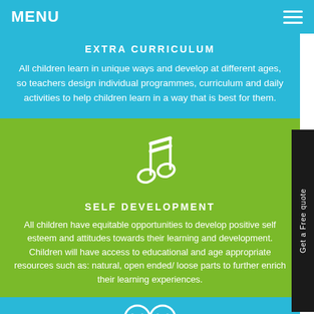MENU
EXTRA CURRICULUM
All children learn in unique ways and develop at different ages, so teachers design individual programmes, curriculum and daily activities to help children learn in a way that is best for them.
[Figure (illustration): White outline music note icon on green background]
SELF DEVELOPMENT
All children have equitable opportunities to develop positive self esteem and attitudes towards their learning and development. Children will have access to educational and age appropriate resources such as: natural, open ended/ loose parts to further enrich their learning experiences.
[Figure (illustration): White outline two children/faces icon on blue background (partially visible at bottom)]